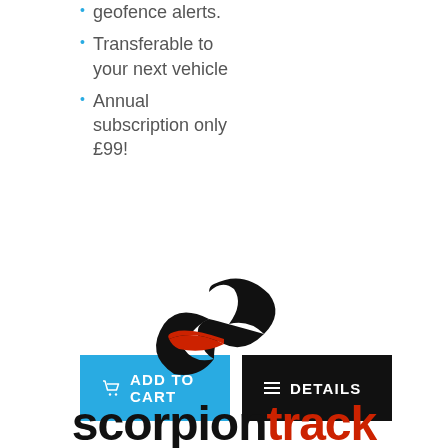geofence alerts.
Transferable to your next vehicle
Annual subscription only £99!
[Figure (logo): Scorpion Track logo: abstract swoosh/arrow mark in black and red above the text 'scorpiontrack' in black and red bold type]